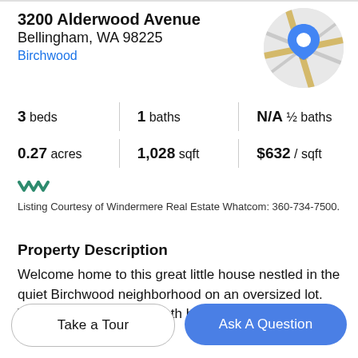3200 Alderwood Avenue
Bellingham, WA 98225
Birchwood
[Figure (map): Circular map thumbnail with road lines and a blue location pin marker]
3 beds | 1 baths | N/A ½ baths
0.27 acres | 1,028 sqft | $632 / sqft
[Figure (logo): Windermere triple chevron logo in teal/green]
Listing Courtesy of Windermere Real Estate Whatcom: 360-734-7500.
Property Description
Welcome home to this great little house nestled in the quiet Birchwood neighborhood on an oversized lot. This private 3 bed one bath home was extensively remodeled